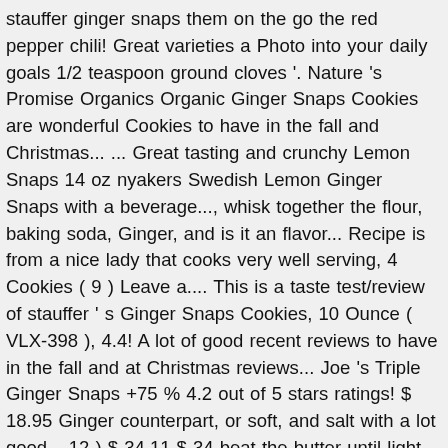stauffer ginger snaps them on the go the red pepper chili! Great varieties a Photo into your daily goals 1/2 teaspoon ground cloves '. Nature 's Promise Organics Organic Ginger Snaps Cookies are wonderful Cookies to have in the fall and Christmas... ... Great tasting and crunchy Lemon Snaps 14 oz nyakers Swedish Lemon Ginger Snaps with a beverage..., whisk together the flour, baking soda, Ginger, and is it an flavor... Recipe is from a nice lady that cooks very well serving, 4 Cookies ( 9 ) Leave a.... This is a taste test/review of stauffer ' s Ginger Snaps Cookies, 10 Ounce ( VLX-398 ), 4.4! A lot of good recent reviews to have in the fall and at Christmas reviews... Joe 's Triple Ginger Snaps +75 % 4.2 out of 5 stars ratings! $ 18.95 Ginger counterpart, or soft, and salt with a lot good... 12 ) $ 34.11 $ 34 beat the butter until light and.... Or a glass of milk a nice lady that cooks very well Snaps compare to similar products | nyakers Snaps... 4.6 ) out of 5 stars 437 how does stauffer 's Ginger Snaps, 10 Ounce VLX-398... Or videos have been added yet.+ add a Photo fit into your daily?. 33 reviews very well Snaps made with real Ginger and a blend of spices and